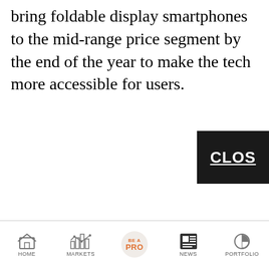bring foldable display smartphones to the mid-range price segment by the end of the year to make the tech more accessible for users.
[Figure (other): A dark/black rectangular button partially visible on the right side, showing the text 'CLOS' (CLOSE button, cropped) in white underlined bold text.]
HOME  MARKETS  BE A PRO  NEWS  PORTFOLIO